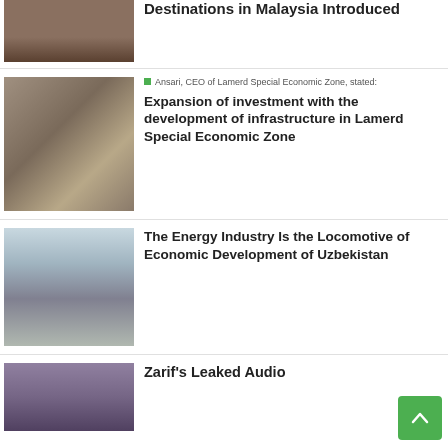[Figure (photo): Partial thumbnail of a building/architectural photo (top of page, cropped)]
Destinations in Malaysia Introduced
[Figure (photo): Man in suit seated at an office desk with Iranian flags in the background — Ansari, CEO of Lamerd Special Economic Zone]
Ansari, CEO of Lamerd Special Economic Zone, stated:
Expansion of investment with the development of infrastructure in Lamerd Special Economic Zone
[Figure (photo): Man in a dark suit gesturing outdoors near industrial/bridge structure — related to Uzbekistan energy industry story]
The Energy Industry Is the Locomotive of Economic Development of Uzbekistan
[Figure (photo): Partial thumbnail of a man in suit (bottom of page, Zarif story)]
Zarif's Leaked Audio